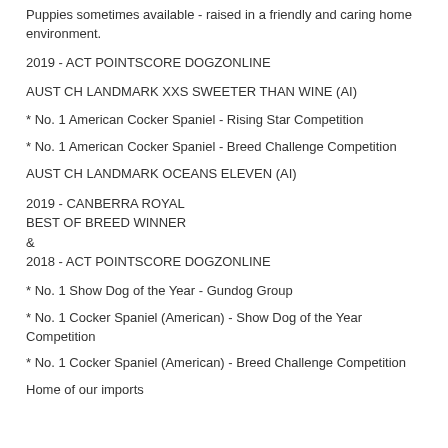Puppies sometimes available - raised in a friendly and caring home environment.
2019 - ACT POINTSCORE DOGZONLINE
AUST CH LANDMARK XXS SWEETER THAN WINE (AI)
* No. 1 American Cocker Spaniel - Rising Star Competition
* No. 1 American Cocker Spaniel - Breed Challenge Competition
AUST CH LANDMARK OCEANS ELEVEN (AI)
2019 - CANBERRA ROYAL
BEST OF BREED WINNER
&
2018 - ACT POINTSCORE DOGZONLINE
* No. 1 Show Dog of the Year - Gundog Group
* No. 1 Cocker Spaniel (American) - Show Dog of the Year Competition
* No. 1 Cocker Spaniel (American) - Breed Challenge Competition
Home of our imports